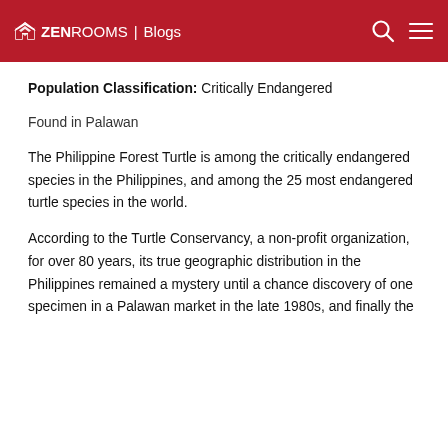ZEN ROOMS | Blogs
Population Classification: Critically Endangered
Found in Palawan
The Philippine Forest Turtle is among the critically endangered species in the Philippines, and among the 25 most endangered turtle species in the world.
According to the Turtle Conservancy, a non-profit organization, for over 80 years, its true geographic distribution in the Philippines remained a mystery until a chance discovery of one specimen in a Palawan market in the late 1980s, and finally the